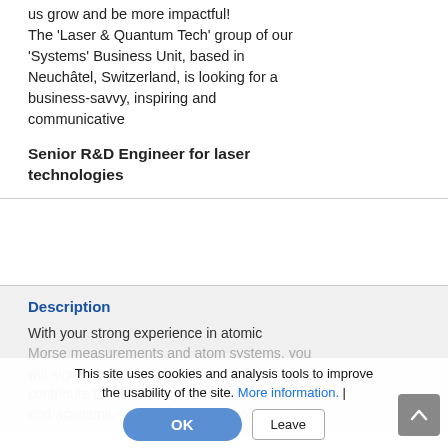us grow and be more impactful! The 'Laser & Quantum Tech' group of our 'Systems' Business Unit, based in Neuchâtel, Switzerland, is looking for a business-savvy, inspiring and communicative
Senior R&D Engineer for laser technologies
Description
With your strong experience in atomic Morse measurements and atom systems, you will significantly contribute to the development of industrial and academic projects in the field of atomic
This site uses cookies and analysis tools to improve the usability of the site. More information. |